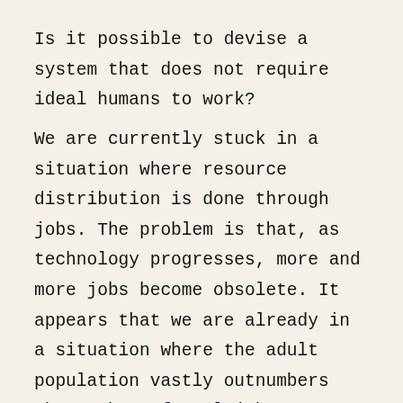Is it possible to devise a system that does not require ideal humans to work?
We are currently stuck in a situation where resource distribution is done through jobs. The problem is that, as technology progresses, more and more jobs become obsolete. It appears that we are already in a situation where the adult population vastly outnumbers the number of real jobs available. Social scientists are pointing out the phenomena of "bullshit jobs" -- an increasing number of unnecessary and meaningless jobs that are created to maintain social stability. This is tragic: people are being imprisoned for large